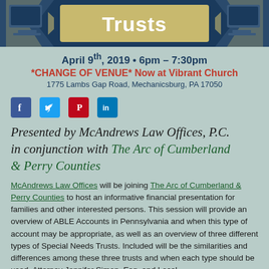[Figure (illustration): Dark navy blue banner with decorative triangular/chevron graphics on left and right sides and the word 'Trusts' in gold/tan text in the center]
April 9th, 2019 • 6pm – 7:30pm
*CHANGE OF VENUE* Now at Vibrant Church
1775 Lambs Gap Road, Mechanicsburg, PA 17050
[Figure (infographic): Social media icons: Facebook, Twitter, Pinterest, LinkedIn]
Presented by McAndrews Law Offices, P.C. in conjunction with The Arc of Cumberland & Perry Counties
McAndrews Law Offices will be joining The Arc of Cumberland & Perry Counties to host an informative financial presentation for families and other interested persons. This session will provide an overview of ABLE Accounts in Pennsylvania and when this type of account may be appropriate, as well as an overview of three different types of Special Needs Trusts. Included will be the similarities and differences among these three trusts and when each type should be used. Attorney Jennifer Simon, Esq. and Local...